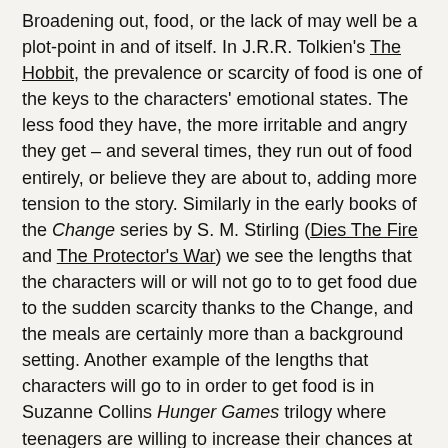Broadening out, food, or the lack of may well be a plot-point in and of itself. In J.R.R. Tolkien's The Hobbit, the prevalence or scarcity of food is one of the keys to the characters' emotional states. The less food they have, the more irritable and angry they get – and several times, they run out of food entirely, or believe they are about to, adding more tension to the story. Similarly in the early books of the Change series by S. M. Stirling (Dies The Fire and The Protector's War) we see the lengths that the characters will or will not go to to get food due to the sudden scarcity thanks to the Change, and the meals are certainly more than a background setting. Another example of the lengths that characters will go to in order to get food is in Suzanne Collins Hunger Games trilogy where teenagers are willing to increase their chances at being drawn for Tribute in order to get food for themselves and their families. Not to mention what they're willing to consider food!
Similarly, we see the cycle of the year shown through the foods and quantities of foods available as the seasons change in S. M. Stirling's books, and more subtly in the Outlander books. From seasonal feasts to scarcity, it's all